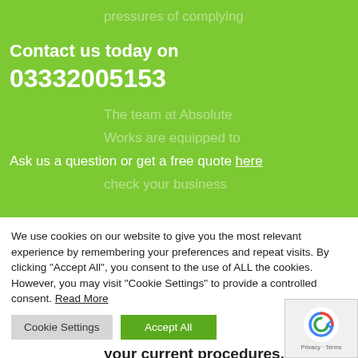[Figure (screenshot): Green banner background section of a website]
pressures of complying
Contact us today on 03332005153
Ask us a question or get a free quote here
The team at Absolute Works are equipped to check your business compliance and provide a full report and audit of your current procedures.
We use cookies on our website to give you the most relevant experience by remembering your preferences and repeat visits. By clicking "Accept All", you consent to the use of ALL the cookies. However, you may visit "Cookie Settings" to provide a controlled consent. Read More